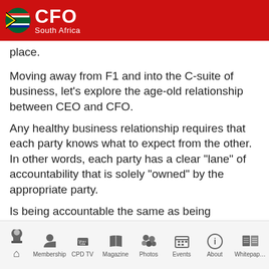CFO South Africa
place.
Moving away from F1 and into the C-suite of business, let’s explore the age-old relationship between CEO and CFO.
Any healthy business relationship requires that each party knows what to expect from the other. In other words, each party has a clear “lane” of accountability that is solely “owned” by the appropriate party.
Is being accountable the same as being responsible?
Home  Membership  CPD TV  Magazine  Photos  Events  About  Whitepaper